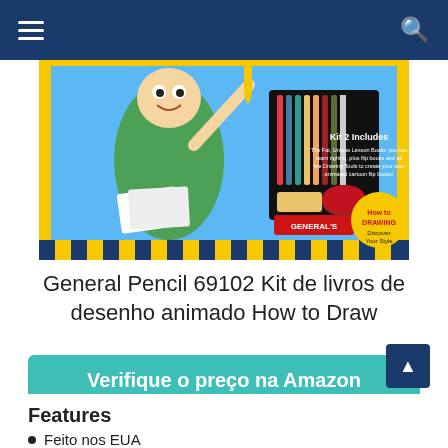Navigation bar with hamburger menu and search icon
[Figure (photo): Product image of General Pencil 69102 How to Draw animation kit box, showing cartoon character holding pencils, colored pencils set, and drawing tools]
General Pencil 69102 Kit de livros de desenho animado How to Draw
Verifique o preço na Amazon
Amazon.com.br
Features
Feito nos EUA